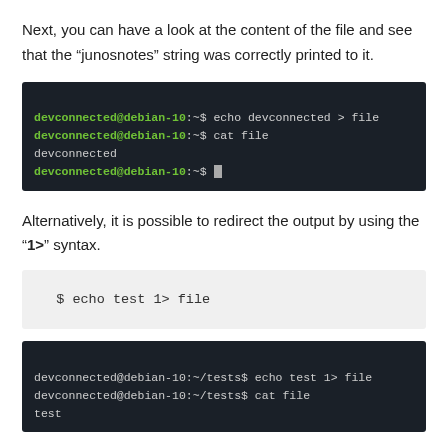Next, you can have a look at the content of the file and see that the “junosnotes” string was correctly printed to it.
[Figure (screenshot): Terminal showing: devconnected@debian-10:~$ echo devconnected > file, devconnected@debian-10:~$ cat file, devconnected, devconnected@debian-10:~$ (with cursor)]
Alternatively, it is possible to redirect the output by using the “1>” syntax.
[Figure (screenshot): Code block on light gray background showing: $ echo test 1> file]
[Figure (screenshot): Terminal showing: devconnected@debian-10:~/tests$ echo test 1> file, devconnected@debian-10:~/tests$ cat file, test (partial)]